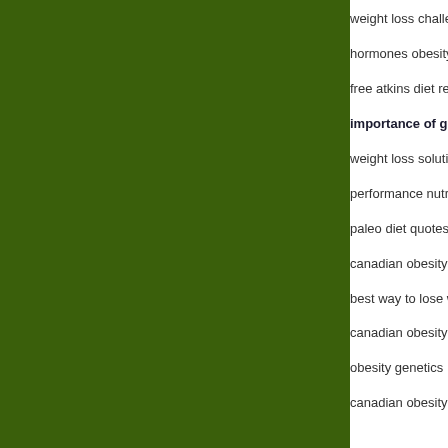[Figure (other): Large dark green rectangular panel occupying the left portion of the page]
weight loss challen...
hormones obesity
free atkins diet rec...
importance of goo...
weight loss solution...
performance nutriti...
paleo diet quotes
canadian obesity
best way to lose we...
canadian obesity n...
obesity genetics
canadian obesity